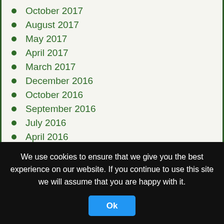October 2017
August 2017
May 2017
April 2017
March 2017
December 2016
October 2016
September 2016
July 2016
April 2016
December 2015
November 2015
October 2015
September 2015
August 2015
July 2015
We use cookies to ensure that we give you the best experience on our website. If you continue to use this site we will assume that you are happy with it.